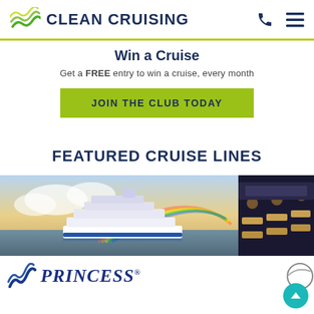CLEAN CRUISING
Win a Cruise
Get a FREE entry to win a cruise, every month
JOIN THE CLUB TODAY
FEATURED CRUISE LINES
[Figure (photo): Cruise ship at sea with rainbow in sky]
[Figure (photo): Cruise ship deck with lounge chairs at night]
[Figure (logo): Princess Cruises logo]
[Figure (logo): Oceania Cruises logo (partially visible)]